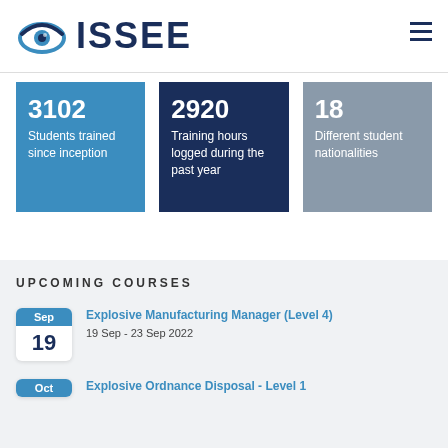[Figure (logo): ISSEE logo with eye icon and dark blue bold text ISSEE]
3102
Students trained since inception
2920
Training hours logged during the past year
18
Different student nationalities
UPCOMING COURSES
Explosive Manufacturing Manager (Level 4)
19 Sep - 23 Sep 2022
Explosive Ordnance Disposal - Level 1